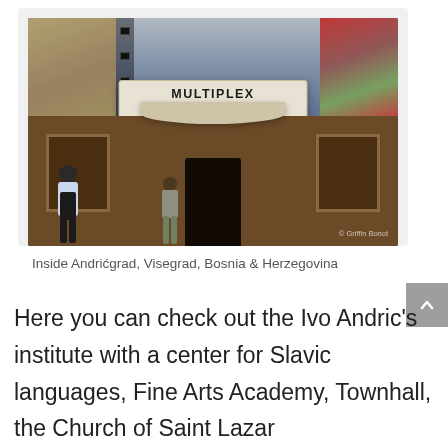[Figure (photo): Photograph of the exterior of Multiplex Dolly Bell cinema inside Andrićgrad, Višegrad, Bosnia & Herzegovina. The building facade shows murals on either side, a prominent sign reading 'MULTIPLEX DOLLY BELL', a canopy, wooden door entrance, movie poster frames, and two people walking in front.]
Inside Andrićgrad, Visegrad, Bosnia & Herzegovina
Here you can check out the Ivo Andric's institute with a center for Slavic languages, Fine Arts Academy, Townhall, the Church of Saint Lazar